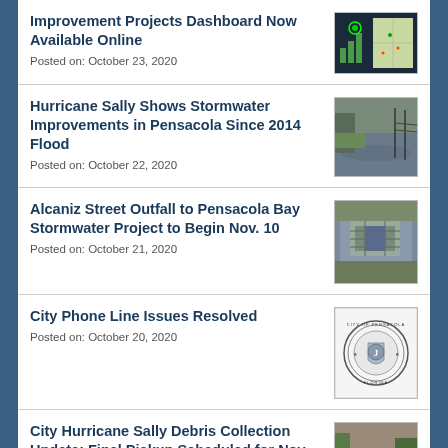Improvement Projects Dashboard Now Available Online
Posted on: October 23, 2020
Hurricane Sally Shows Stormwater Improvements in Pensacola Since 2014 Flood
Posted on: October 22, 2020
Alcaniz Street Outfall to Pensacola Bay Stormwater Project to Begin Nov. 10
Posted on: October 21, 2020
City Phone Line Issues Resolved
Posted on: October 20, 2020
City Hurricane Sally Debris Collection Update: Final Pickup Scheduled for Nov. 16
[Figure (photo): Dashboard screenshot with map and bar chart]
[Figure (photo): Flooded road during Hurricane Sally]
[Figure (photo): Aerial view of Alcaniz Street outfall area]
[Figure (logo): City of Pensacola seal/logo]
[Figure (photo): Debris collection scene with debris piles]